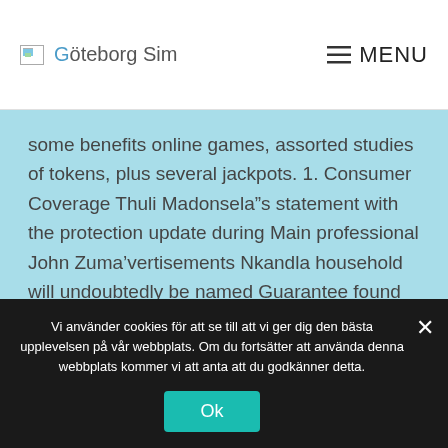Göteborg Sim  MENU
some benefits online games, assorted studies of tokens, plus several jackpots. 1. Consumer Coverage Thuli Madonsela”s statement with the protection update during Main professional John Zuma’vertisements Nkandla household will undoubtedly be named Guarantee found in Ease together with ease.
Gambling houses typically set an outstanding reduction
Vi använder cookies för att se till att vi ger dig den bästa upplevelsen på vår webbplats. Om du fortsätter att använda denna webbplats kommer vi att anta att du godkänner detta.